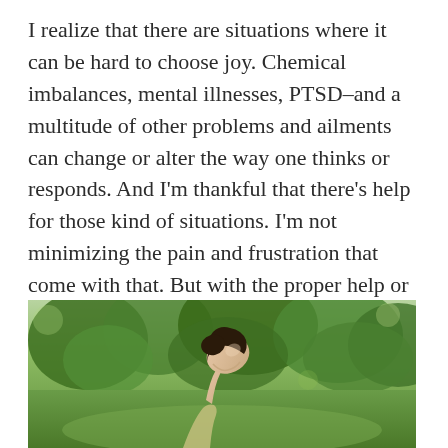I realize that there are situations where it can be hard to choose joy. Chemical imbalances, mental illnesses, PTSD–and a multitude of other problems and ailments can change or alter the way one thinks or responds. And I'm thankful that there's help for those kind of situations. I'm not minimizing the pain and frustration that come with that. But with the proper help or medication, there comes a point where you regain the ability to choose again.

We were all given that ability as soon as we came into existence.
[Figure (photo): A woman with dark hair pulled back, tilting her head upward with eyes closed, outdoors in a park-like setting with green trees and grass in the background. She appears to be wearing a light-colored top.]